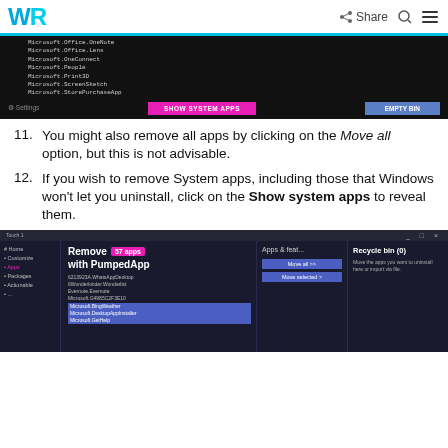WR | Share
[Figure (screenshot): Dark-themed app window showing a list of Microsoft apps (Microsoft.Office.OneNote, Microsoft.Office.Lens, Microsoft.OneConnect, Microsoft.People, Microsoft.Print3D, Microsoft.ScreenSketch, Microsoft.StorePurchaseApp) with SHOW SYSTEM APPS button in pink and EMPTY BIN button in blue at the bottom.]
You might also remove all apps by clicking on the Move all option, but this is not advisable.
If you wish to remove System apps, including those that Windows won't let you uninstall, click on the Show system apps to reveal them.
[Figure (screenshot): Dark-themed app window showing 'Remove 57 apps with PumpedApp' interface. Left sidebar with Home, Customize, Apps (active), Packages, Actionable menu items. Main panel shows app list including 6Wunderkinder.Wunderlist, Evernote.Evernote, Microsoft.549885C2F3E10, Microsoft.BingWeather, Microsoft.DesktopAppInstaller, Microsoft.GetHelp. Right panels show 'Apps & feat...' with 'Move all >>' and 'Move selected >' buttons, and 'Recycle bin (0)' panel with description text.]